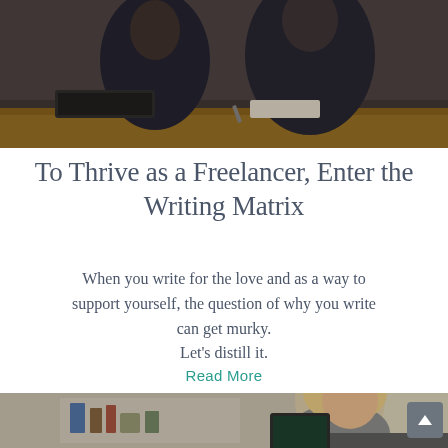[Figure (photo): Two people in business attire sitting at a desk, viewed from above/behind, with a laptop and notebook visible on a wooden desk surface.]
To Thrive as a Freelancer, Enter the Writing Matrix
When you write for the love and as a way to support yourself, the question of why you write can get murky. Let's distill it.
Read More
[Figure (photo): A woman with glasses hanging around her neck, working at a desk, viewed from the side in a home or office environment with shelves visible in the background.]